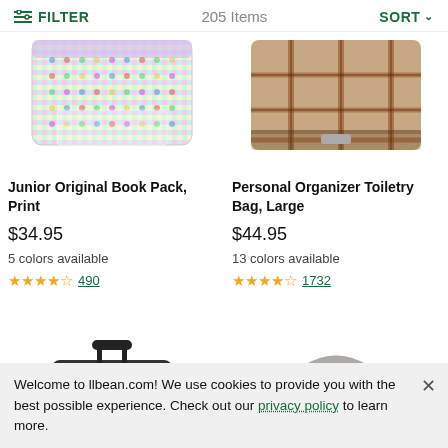FILTER   205 Items   SORT
[Figure (photo): Junior Original Book Pack, Print — colorful checkered/rainbow pattern tote bag, partially cropped at top]
[Figure (photo): Personal Organizer Toiletry Bag, Large — plaid brown/red pattern toiletry bag, partially cropped at top]
Junior Original Book Pack, Print
$34.95
5 colors available
★★★★½ 490
Personal Organizer Toiletry Bag, Large
$44.95
13 colors available
★★★★½ 1732
[Figure (photo): Black rolling carry-on luggage, partially cropped at bottom]
[Figure (photo): Colorful tie-dye cosmetic/toiletry bag, partially cropped at bottom]
Welcome to llbean.com! We use cookies to provide you with the best possible experience. Check out our privacy policy to learn more.